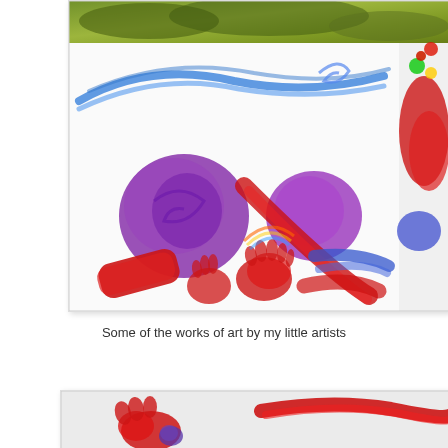[Figure (photo): Children's artwork showing colorful paintings on white paper: a large piece with blue arc strokes across the top, purple swirled shapes, red brush strokes and handprints, and blue marks. Adjacent artwork sections visible on sides showing green and red paint. Multiple artworks arranged together.]
Some of the works of art by my little artists
[Figure (photo): Partial view of a child's artwork on light gray/white paper showing red and purple painted shapes and curved red strokes.]